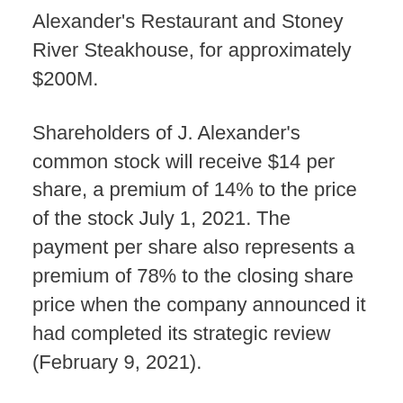Alexander's Restaurant and Stoney River Steakhouse, for approximately $200M.
Shareholders of J. Alexander's common stock will receive $14 per share, a premium of 14% to the price of the stock July 1, 2021. The payment per share also represents a premium of 78% to the closing share price when the company announced it had completed its strategic review (February 9, 2021).